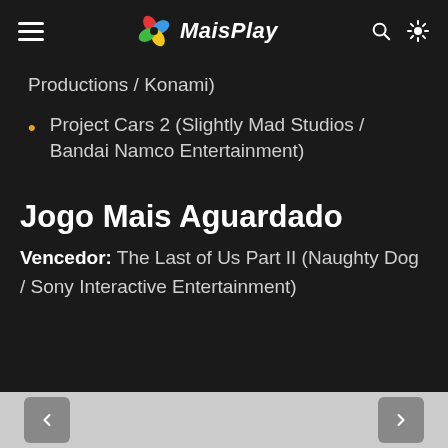MaisPlay
Productions / Konami)
Project Cars 2 (Slightly Mad Studios / Bandai Namco Entertainment)
Jogo Mais Aguardado
Vencedor: The Last of Us Part II (Naughty Dog / Sony Interactive Entertainment)
[Figure (screenshot): Bottom portion of a dark background image partially visible]
Navigation arrows left and right